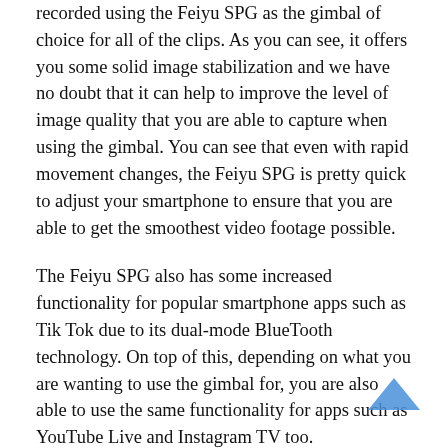recorded using the Feiyu SPG as the gimbal of choice for all of the clips. As you can see, it offers you some solid image stabilization and we have no doubt that it can help to improve the level of image quality that you are able to capture when using the gimbal. You can see that even with rapid movement changes, the Feiyu SPG is pretty quick to adjust your smartphone to ensure that you are able to get the smoothest video footage possible.
The Feiyu SPG also has some increased functionality for popular smartphone apps such as Tik Tok due to its dual-mode BlueTooth technology. On top of this, depending on what you are wanting to use the gimbal for, you are also able to use the same functionality for apps such as YouTube Live and Instagram TV too.
Our favorite thing about the latest Feiyu SPG is the upgraded algorithm that has been specifically designed